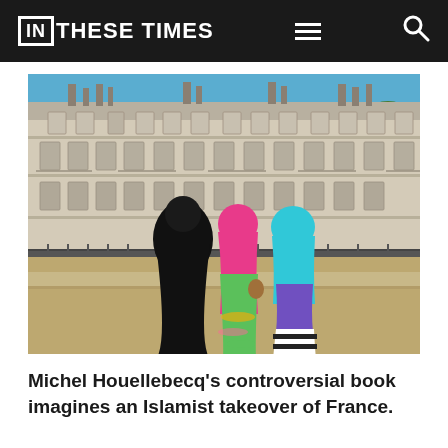IN THESE TIMES
[Figure (photo): Three women wearing Islamic head coverings (one in black niqab/abaya, one in pink hijab with floral dress, one in cyan/blue hijab with purple top and black-and-white striped skirt) seen from behind, standing in front of a large classical French building with multiple stories of windows and balconies, under a blue sky.]
Michel Houellebecq's controversial book imagines an Islamist takeover of France.